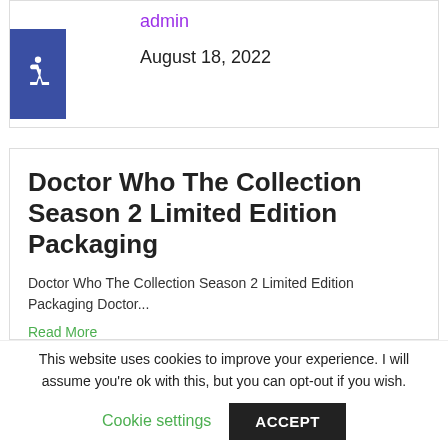admin
August 18, 2022
Doctor Who The Collection Season 2 Limited Edition Packaging
Doctor Who The Collection Season 2 Limited Edition Packaging Doctor...
Read More
This website uses cookies to improve your experience. I will assume you're ok with this, but you can opt-out if you wish.
Cookie settings
ACCEPT